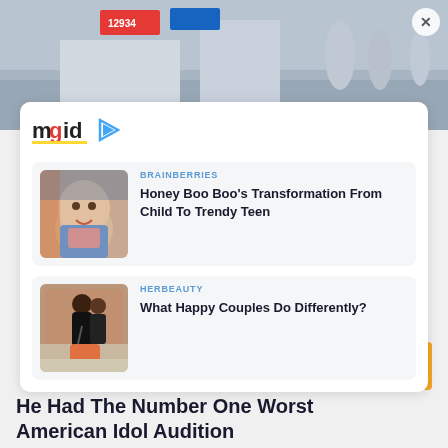[Figure (photo): Top banner photo showing a crowd at an outdoor event with a car, partially visible]
[Figure (logo): MGID logo with play button icon]
[Figure (photo): Thumbnail of Honey Boo Boo article - girl smiling]
BRAINBERRIES
Honey Boo Boo's Transformation From Child To Trendy Teen
[Figure (photo): Thumbnail of HerBeauty article - couple with stroller]
HERBEAUTY
What Happy Couples Do Differently?
[Figure (other): Back to top button - orange square with upward chevron]
He Had The Number One Worst American Idol Audition